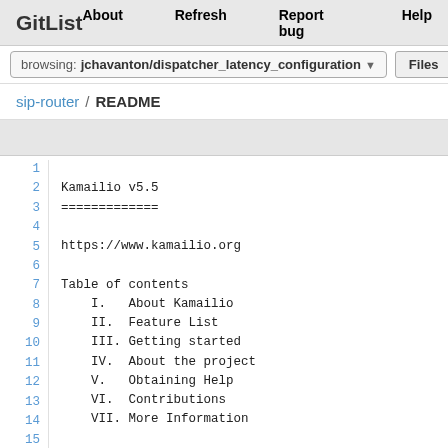GitList   About   Refresh   Report bug   Help
browsing: jchavanton/dispatcher_latency_configuration ▾    Files
sip-router / README
1
2  Kamailio v5.5
3  =============
4
5  https://www.kamailio.org
6
7  Table of contents
8      I.   About Kamailio
9      II.  Feature List
10     III. Getting started
11     IV.  About the project
12     V.   Obtaining Help
13     VI.  Contributions
14     VII. More Information
15